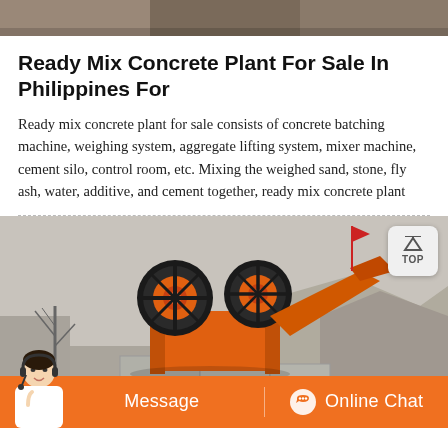[Figure (photo): Top banner photo strip showing machinery/construction equipment, partially cropped]
Ready Mix Concrete Plant For Sale In Philippines For
Ready mix concrete plant for sale consists of concrete batching machine, weighing system, aggregate lifting system, mixer machine, cement silo, control room, etc. Mixing the weighed sand, stone, fly ash, water, additive, and cement together, ready mix concrete plant
[Figure (photo): Photo of an orange jaw crusher machine mounted on concrete blocks at a quarry site, with bare trees and rocky terrain in the background. A 'TOP' navigation button is visible in the top right corner. An orange bottom bar shows 'Message' and 'Online Chat' buttons with a customer service avatar on the left.]